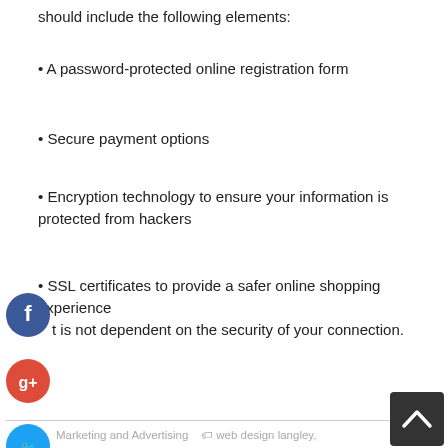should include the following elements:
• A password-protected online registration form
• Secure payment options
• Encryption technology to ensure your information is protected from hackers
• SSL certificates to provide a safer online shopping experience that is not dependent on the security of your connection.
[Figure (illustration): Social share buttons: Facebook (blue circle with f), Google+ (red circle with g+), Twitter (blue circle with bird), and a plus/add button (dark blue circle with +)]
Marketing and Advertising   web design langley, website design langley